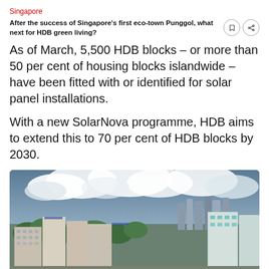Singapore
After the success of Singapore's first eco-town Punggol, what next for HDB green living?
As of March, 5,500 HDB blocks – or more than 50 per cent of housing blocks islandwide – have been fitted with or identified for solar panel installations.
With a new SolarNova programme, HDB aims to extend this to 70 per cent of HDB blocks by 2030.
[Figure (photo): Aerial view of HDB housing blocks in Singapore under a cloudy sky, showing high-rise residential buildings, green trees, and urban infrastructure.]